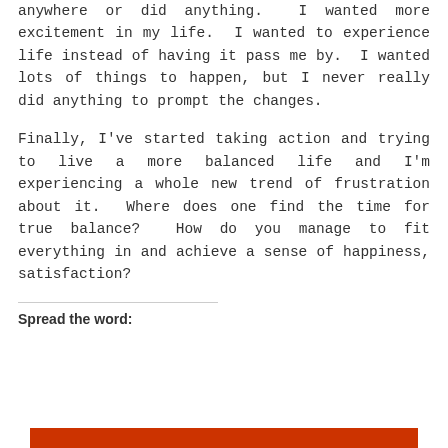anywhere or did anything. I wanted more excitement in my life. I wanted to experience life instead of having it pass me by. I wanted lots of things to happen, but I never really did anything to prompt the changes.
Finally, I've started taking action and trying to live a more balanced life and I'm experiencing a whole new trend of frustration about it. Where does one find the time for true balance? How do you manage to fit everything in and achieve a sense of happiness, satisfaction?
Spread the word:
Privacy & Cookies: This site uses cookies. By continuing to use this website, you agree to their use.
To find out more, including how to control cookies, see here: Cookie Policy
Close and accept